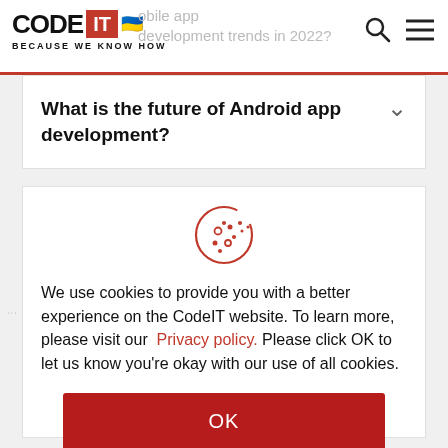CODE IT — BECAUSE WE KNOW HOW
What is the future of Android app development?
[Figure (illustration): Cookie icon — circular cookie with dots/spots, drawn in red outline style]
We use cookies to provide you with a better experience on the CodeIT website. To learn more, please visit our Privacy policy. Please click OK to let us know you're okay with our use of all cookies.